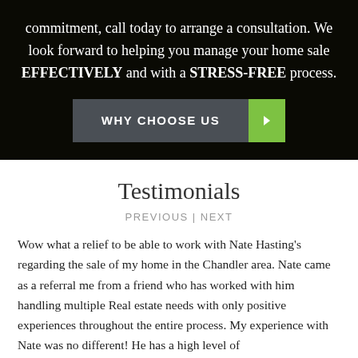commitment, call today to arrange a consultation. We look forward to helping you manage your home sale EFFECTIVELY and with a STRESS-FREE process.
WHY CHOOSE US ▶
Testimonials
PREVIOUS | NEXT
Wow what a relief to be able to work with Nate Hasting's regarding the sale of my home in the Chandler area. Nate came as a referral me from a friend who has worked with him handling multiple Real estate needs with only positive experiences throughout the entire process. My experience with Nate was no different! He has a high level of